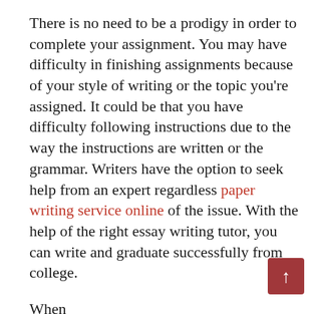There is no need to be a prodigy in order to complete your assignment. You may have difficulty in finishing assignments because of your style of writing or the topic you're assigned. It could be that you have difficulty following instructions due to the way the instructions are written or the grammar. Writers have the option to seek help from an expert regardless paper writing service online of the issue. With the help of the right essay writing tutor, you can write and graduate successfully from college.
When https://www.prgs.edu/content/rand/blog.html?redirect.aspx%3Furl=xxxfax.com looking for essay writers look through the authors' profiles to get an understanding of their perform. You should seek out the testimonials of previous customers in particular if they're students from an accredited institution. It will give you an impression of the way they take on your project. Furthermore, you can ask for examples of essays written by writing service...